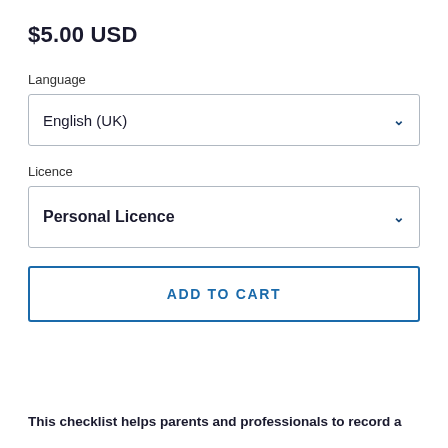$5.00 USD
Language
English (UK)
Licence
Personal Licence
ADD TO CART
This checklist helps parents and professionals to record a